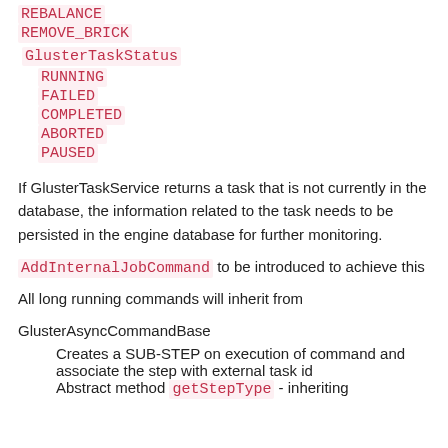REBALANCE
REMOVE_BRICK
GlusterTaskStatus
RUNNING
FAILED
COMPLETED
ABORTED
PAUSED
If GlusterTaskService returns a task that is not currently in the database, the information related to the task needs to be persisted in the engine database for further monitoring.
AddInternalJobCommand to be introduced to achieve this
All long running commands will inherit from
GlusterAsyncCommandBase
Creates a SUB-STEP on execution of command and associate the step with external task id
Abstract method getStepType - inheriting